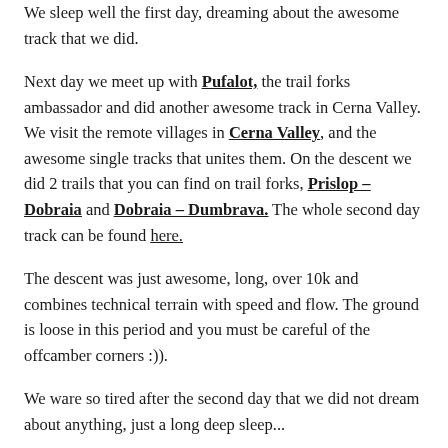We sleep well the first day, dreaming about the awesome track that we did.
Next day we meet up with Pufalot, the trail forks ambassador and did another awesome track in Cerna Valley. We visit the remote villages in Cerna Valley, and the awesome single tracks that unites them. On the descent we did 2 trails that you can find on trail forks, Prislop – Dobraia and Dobraia – Dumbrava. The whole second day track can be found here.
The descent was just awesome, long, over 10k and combines technical terrain with speed and flow. The ground is loose in this period and you must be careful of the offcamber corners :)).
We ware so tired after the second day that we did not dream about anything, just a long deep sleep...